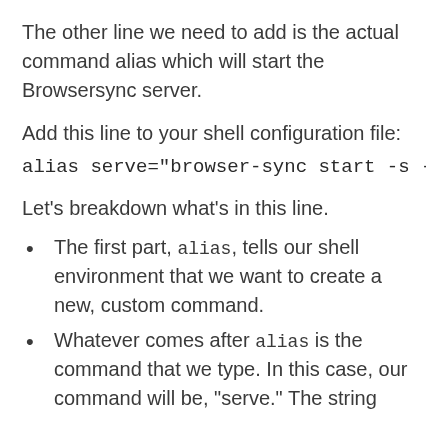The other line we need to add is the actual command alias which will start the Browsersync server.
Add this line to your shell configuration file:
alias serve="browser-sync start -s -
Let's breakdown what's in this line.
The first part, alias, tells our shell environment that we want to create a new, custom command.
Whatever comes after alias is the command that we type. In this case, our command will be, "serve." The string